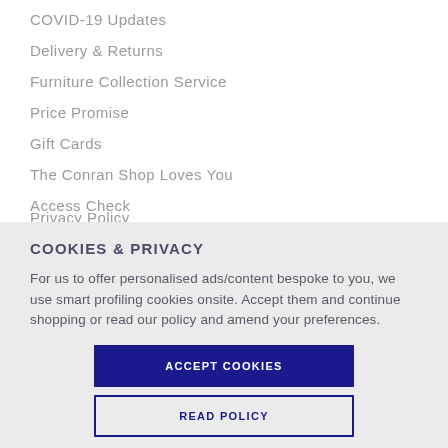COVID-19 Updates
Delivery & Returns
Furniture Collection Service
Price Promise
Gift Cards
The Conran Shop Loves You
Access Check
Privacy Policy (partially visible)
COOKIES & PRIVACY
For us to offer personalised ads/content bespoke to you, we use smart profiling cookies onsite. Accept them and continue shopping or read our policy and amend your preferences.
ACCEPT COOKIES
READ POLICY